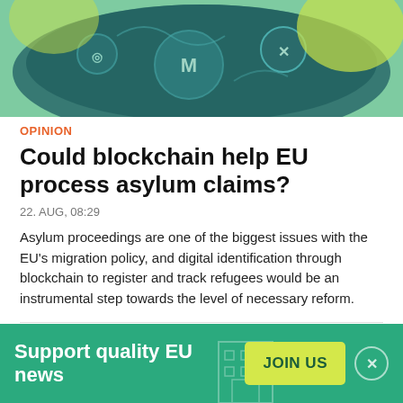[Figure (illustration): Decorative illustration with cryptocurrency/blockchain symbols on a teal/green background — partial view at top of page]
OPINION
Could blockchain help EU process asylum claims?
22. AUG, 08:29
Asylum proceedings are one of the biggest issues with the EU's migration policy, and digital identification through blockchain to register and track refugees would be an instrumental step towards the level of necessary reform.
NEWS IN BRIEF
Support quality EU news
JOIN US